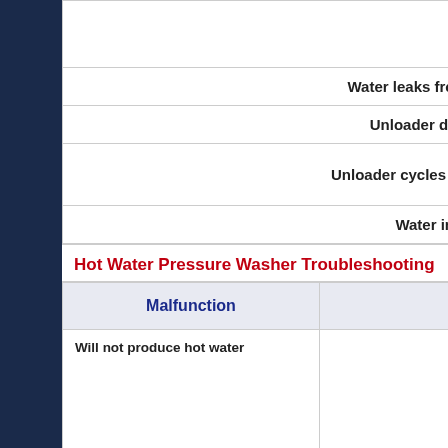| Malfunction (partial) | Cause (partial) |
| --- | --- |
| Water leaks from pump manifold |  |
| Unloader does not bypass |  |
| Unloader cycles when gun is shut off |  |
| Water in crankcase | -... |
Hot Water Pressure Washer Troubleshooting
| Malfunction | Cause |
| --- | --- |
| Will not produce hot water | -Burner switch in 'off' pos...
-Burner switch on but pump s...
-Inadequate fuel supp...
-Plugged fuel filter
-Trigger gun not pulled...
-Thermostat turned o... |